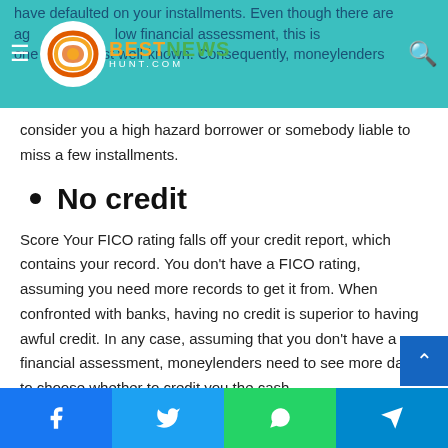BestNewsHunt.com
have defaulted on your installments. Even though there are ag... low financial assessment, this is one of the most well-known. Consequently, moneylenders consider you a high hazard borrower or somebody liable to miss a few installments.
No credit
Score Your FICO rating falls off your credit report, which contains your record. You don't have a FICO rating, assuming you need more records to get it from. When confronted with banks, having no credit is superior to having awful credit. In any case, assuming that you don't have a financial assessment, moneylenders need to see more data to choose whether to credit you the cash.
Facebook | Twitter | WhatsApp | Telegram